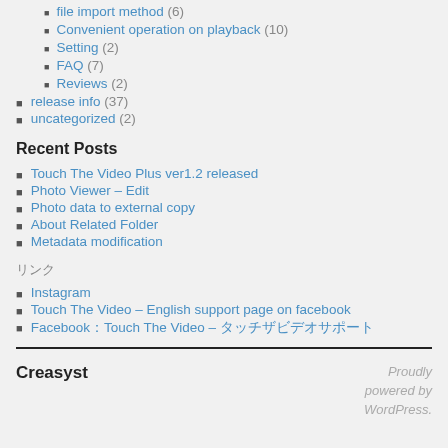file import method (6)
Convenient operation on playback (10)
Setting (2)
FAQ (7)
Reviews (2)
release info (37)
uncategorized (2)
Recent Posts
Touch The Video Plus ver1.2 released
Photo Viewer – Edit
Photo data to external copy
About Related Folder
Metadata modification
リンク
Instagram
Touch The Video – English support page on facebook
Facebook：Touch The Video – タッチザビデオサポート
Creasyst   Proudly powered by WordPress.